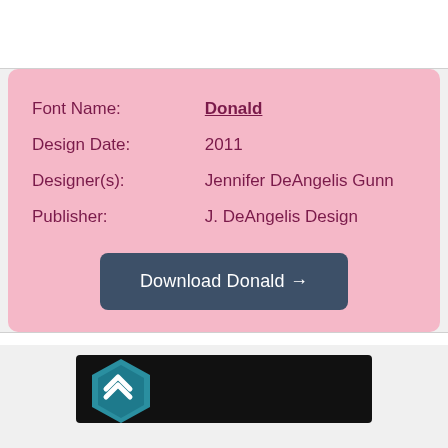| Font Name: | Donald |
| Design Date: | 2011 |
| Designer(s): | Jennifer DeAngelis Gunn |
| Publisher: | J. DeAngelis Design |
Download Donald →
[Figure (logo): Dark background box with a teal hexagonal logo icon at bottom of page]